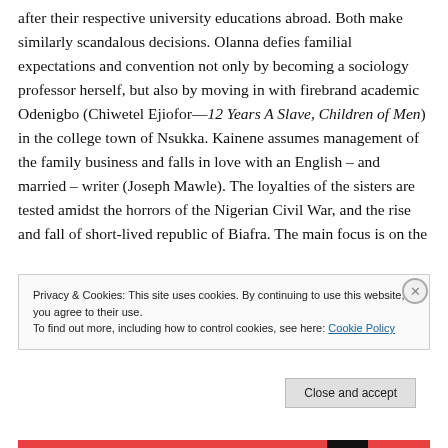after their respective university educations abroad. Both make similarly scandalous decisions. Olanna defies familial expectations and convention not only by becoming a sociology professor herself, but also by moving in with firebrand academic Odenigbo (Chiwetel Ejiofor—12 Years A Slave, Children of Men) in the college town of Nsukka. Kainene assumes management of the family business and falls in love with an English – and married – writer (Joseph Mawle). The loyalties of the sisters are tested amidst the horrors of the Nigerian Civil War, and the rise and fall of short-lived republic of Biafra. The main focus is on the
Privacy & Cookies: This site uses cookies. By continuing to use this website, you agree to their use.
To find out more, including how to control cookies, see here: Cookie Policy